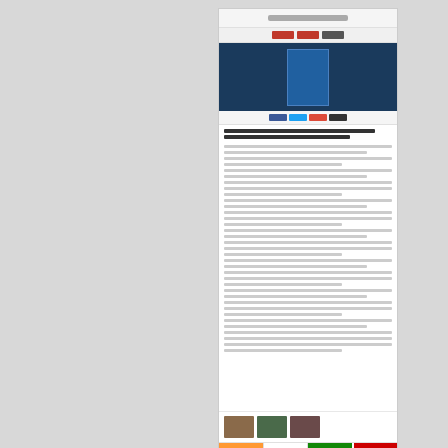[Figure (screenshot): Screenshot of a webpage showing an article with a header image of a person in a blue suit, navigation bars, text content, thumbnail images, flag-colored bar, social sharing icons, comments section, and a dark red footer bar with social media icons.]
↩ Reply
Athar Migmar
March 15, 2018
By hosting the Pakistani Prime Minister Shahid Kh ties are at an all-time low, Nepali Prime Minister K.P that he is not afraid of India, especially after landm were signed with China. This seems to go well with Nepali people, as Oli's pro-China stance is wildly po